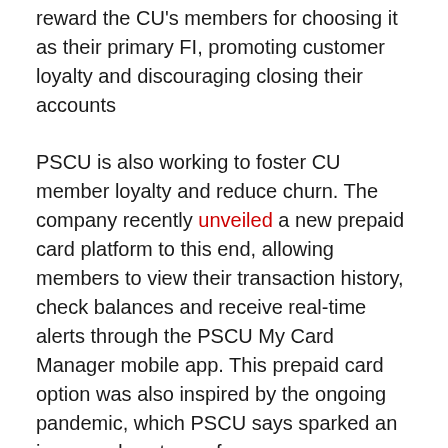reward the CU's members for choosing it as their primary FI, promoting customer loyalty and discouraging closing their accounts
PSCU is also working to foster CU member loyalty and reduce churn. The company recently unveiled a new prepaid card platform to this end, allowing members to view their transaction history, check balances and receive real-time alerts through the PSCU My Card Manager mobile app. This prepaid card option was also inspired by the ongoing pandemic, which PSCU says sparked an increased customer focus on money management.
Digital banking is another promising path forward to promote member loyalty, but some CUs are still